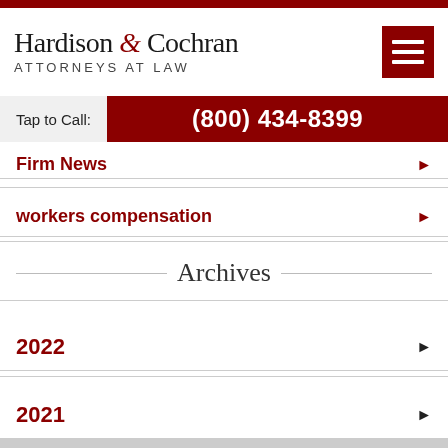[Figure (logo): Hardison & Cochran Attorneys at Law logo with red hamburger menu icon]
Tap to Call: (800) 434-8399
Firm News
workers compensation
Archives
2022
2021